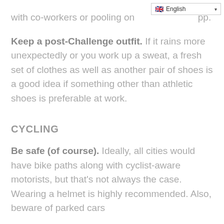with co-workers or pooling on pp.
Keep a post-Challenge outfit. If it rains more unexpectedly or you work up a sweat, a fresh set of clothes as well as another pair of shoes is a good idea if something other than athletic shoes is preferable at work.
CYCLING
Be safe (of course). Ideally, all cities would have bike paths along with cyclist-aware motorists, but that's not always the case. Wearing a helmet is highly recommended. Also, beware of parked cars